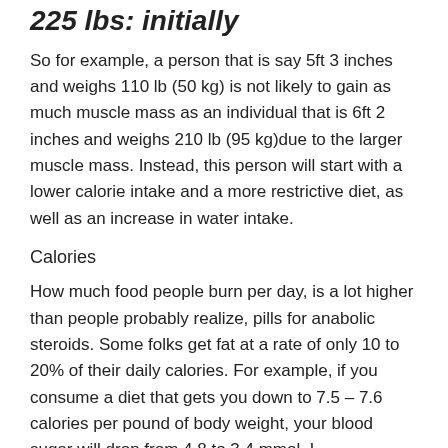225 lbs: initially
So for example, a person that is say 5ft 3 inches and weighs 110 lb (50 kg) is not likely to gain as much muscle mass as an individual that is 6ft 2 inches and weighs 210 lb (95 kg)due to the larger muscle mass. Instead, this person will start with a lower calorie intake and a more restrictive diet, as well as an increase in water intake.
Calories
How much food people burn per day, is a lot higher than people probably realize, pills for anabolic steroids. Some folks get fat at a rate of only 10 to 20% of their daily calories. For example, if you consume a diet that gets you down to 7.5 – 7.6 calories per pound of body weight, your blood sugar will drop from 4.8 to 3.4 mmol. L-glutamate/hbA1C and then will start to go down a little bit, from 7, 110 6657 battery.9 to 7, 110 6657 battery.5